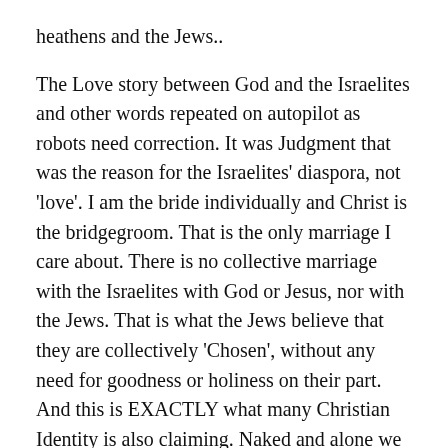heathens and the Jews..
The Love story between God and the Israelites and other words repeated on autopilot as robots need correction. It was Judgment that was the reason for the Israelites' diaspora, not 'love'. I am the bride individually and Christ is the bridgegroom. That is the only marriage I care about. There is no collective marriage with the Israelites with God or Jesus, nor with the Jews. That is what the Jews believe that they are collectively 'Chosen', without any need for goodness or holiness on their part. And this is EXACTLY what many Christian Identity is also claiming. Naked and alone we came to this World, alone we will leave it, and IF we are lucky or have done our job properly the door to Heaven opens, and Jesus Christ – the Keeper of the Keys – will let us into His